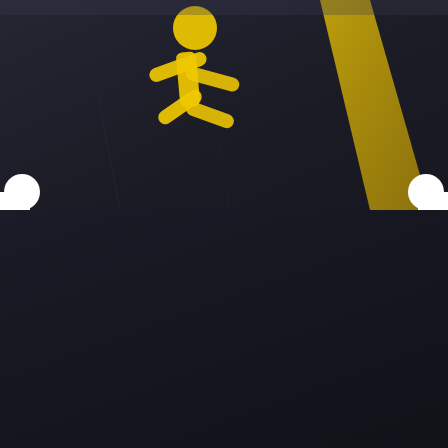[Figure (photo): Close-up photo of a dark asphalt road surface with yellow painted pedestrian crossing symbol (walking figure) and yellow stripe lines, viewed at an angle]
CARLOS RIOS OF VALLEJO DIES IN HIGHWAY 101 PEDESTRIAN ACCIDENT [SAUSALITO, CA]
By Jhnna Mri  August 31, 2022
41-Year-Old Pedestrian Killed in 101 Freeway Traffic Collision Sausalito, CA (August 31, 2022) On Tuesday morning, 41-year-old Carlos Rios of Vallejo died after a Dodge Caravan fatally struck him in the No. 3 lane of Highway 101. According to the California Highway Patrol, the fatal traffic collision happened at around